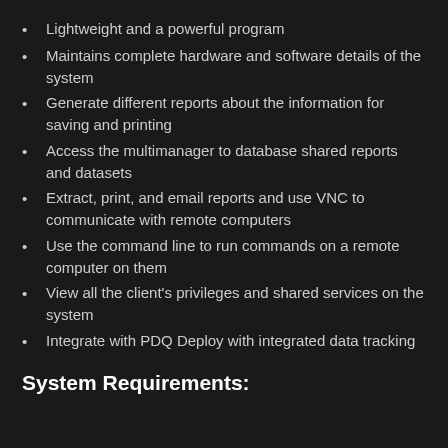Lightweight and a powerful program
Maintains complete hardware and software details of the system
Generate different reports about the information for saving and printing
Access the multimanager to database shared reports and datasets
Extract, print, and email reports and use VNC to communicate with remote computers
Use the command line to run commands on a remote computer on them
View all the client's privileges and shared services on the system
Integrate with PDQ Deploy with integrated data tracking
System Requirements: